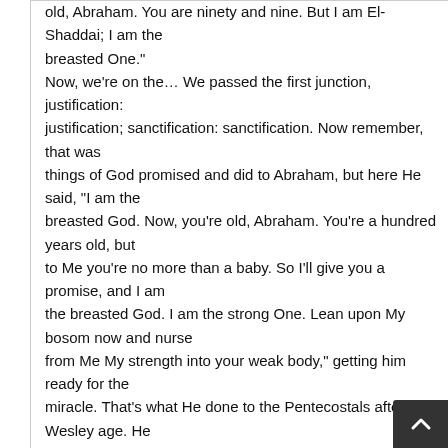old, Abraham. You are ninety and nine. But I am El-Shaddai; I am the breasted One." Now, we're on the… We passed the first junction, justification: justification; sanctification: sanctification. Now remember, that was things of God promised and did to Abraham, but here He said, "I am the breasted God. Now, you're old, Abraham. You're a hundred years old, but to Me you're no more than a baby. So I'll give you a promise, and I am the breasted God. I am the strong One. Lean upon My bosom now and nurse from Me My strength into your weak body," getting him ready for the miracle. That's what He done to the Pentecostals after Wesley age. He let the Pentecostals nurse His own strength, His own Holy Sp... as a